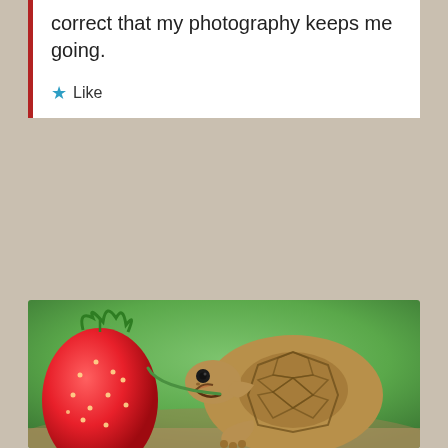correct that my photography keeps me going.
★ Like
[Figure (photo): A small baby tortoise with open mouth biting into a large red strawberry, green blurred background, close-up nature photo.]